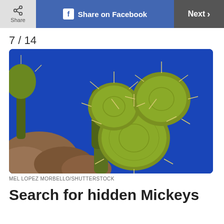Share | Share on Facebook | Next >
7 / 14
[Figure (photo): A prickly pear cactus with multiple pads arranged in a Mickey Mouse silhouette shape, photographed from below against a vivid deep blue sky. Rocks are visible at the lower left.]
MEL LOPEZ MORBELLO/SHUTTERSTOCK
Search for hidden Mickeys